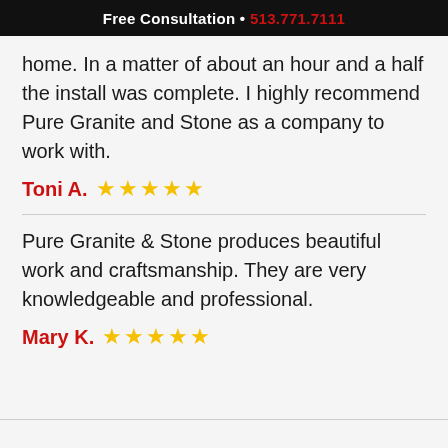Free Consultation • 513.771.7111
home. In a matter of about an hour and a half the install was complete. I highly recommend Pure Granite and Stone as a company to work with.
Toni A. ★★★★★
Pure Granite & Stone produces beautiful work and craftsmanship. They are very knowledgeable and professional.
Mary K. ★★★★★